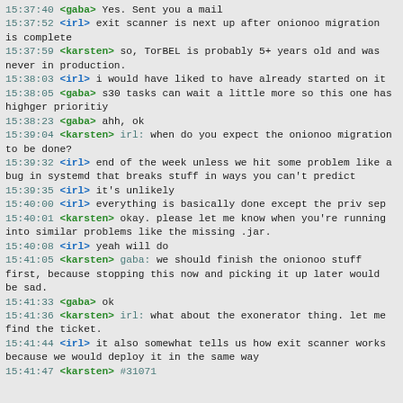15:37:40 <gaba> Yes. Sent you a mail
15:37:52 <irl> exit scanner is next up after onionoo migration is complete
15:37:59 <karsten> so, TorBEL is probably 5+ years old and was never in production.
15:38:03 <irl> i would have liked to have already started on it
15:38:05 <gaba> s30 tasks can wait a little more so this one has highger prioritiy
15:38:23 <gaba> ahh, ok
15:39:04 <karsten> irl: when do you expect the onionoo migration to be done?
15:39:32 <irl> end of the week unless we hit some problem like a bug in systemd that breaks stuff in ways you can't predict
15:39:35 <irl> it's unlikely
15:40:00 <irl> everything is basically done except the priv sep
15:40:01 <karsten> okay. please let me know when you're running into similar problems like the missing .jar.
15:40:08 <irl> yeah will do
15:41:05 <karsten> gaba: we should finish the onionoo stuff first, because stopping this now and picking it up later would be sad.
15:41:33 <gaba> ok
15:41:36 <karsten> irl: what about the exonerator thing. let me find the ticket.
15:41:44 <irl> it also somewhat tells us how exit scanner works because we would deploy it in the same way
15:41:47 <karsten> #31071